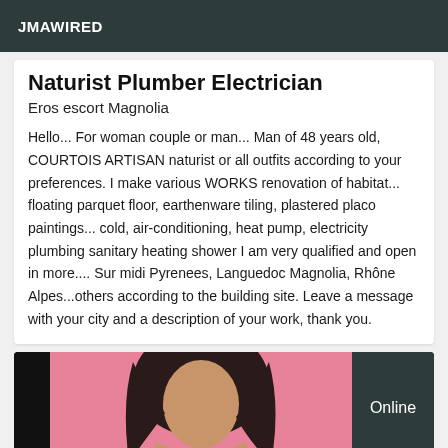JMAWIRED
Naturist Plumber Electrician
Eros escort Magnolia
Hello... For woman couple or man... Man of 48 years old, COURTOIS ARTISAN naturist or all outfits according to your preferences. I make various WORKS renovation of habitat... floating parquet floor, earthenware tiling, plastered placo paintings... cold, air-conditioning, heat pump, electricity plumbing sanitary heating shower I am very qualified and open in more.... Sur midi Pyrenees, Languedoc Magnolia, Rhône Alpes...others according to the building site. Leave a message with your city and a description of your work, thank you.
[Figure (photo): Photo of a person with dark hair against a pink background, partially cropped. Dark panel on left and dark panel with 'Online' text on right.]